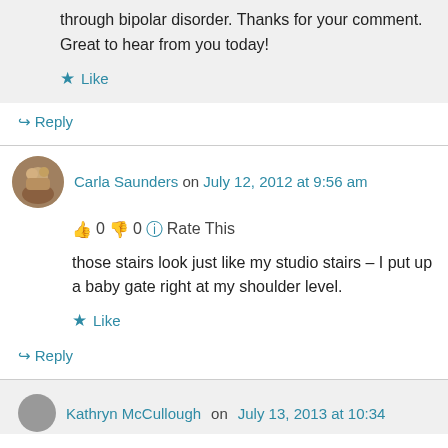through bipolar disorder. Thanks for your comment. Great to hear from you today!
Like
↳ Reply
Carla Saunders on July 12, 2012 at 9:56 am
👍 0 👎 0 ℹ Rate This
those stairs look just like my studio stairs – I put up a baby gate right at my shoulder level.
Like
↳ Reply
Kathryn McCullough on July 13, 2013 at 10:34